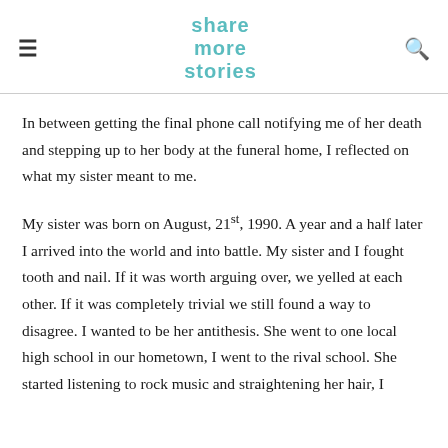share more stories
In between getting the final phone call notifying me of her death and stepping up to her body at the funeral home, I reflected on what my sister meant to me.
My sister was born on August, 21st, 1990. A year and a half later I arrived into the world and into battle. My sister and I fought tooth and nail. If it was worth arguing over, we yelled at each other. If it was completely trivial we still found a way to disagree. I wanted to be her antithesis. She went to one local high school in our hometown, I went to the rival school. She started listening to rock music and straightening her hair, I